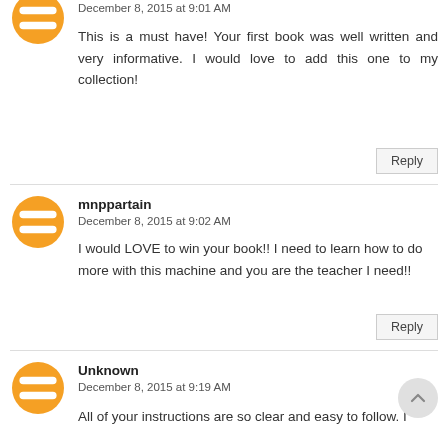December 8, 2015 at 9:01 AM
This is a must have! Your first book was well written and very informative. I would love to add this one to my collection!
Reply
mnppartain
December 8, 2015 at 9:02 AM
I would LOVE to win your book!! I need to learn how to do more with this machine and you are the teacher I need!!
Reply
Unknown
December 8, 2015 at 9:19 AM
All of your instructions are so clear and easy to follow. I